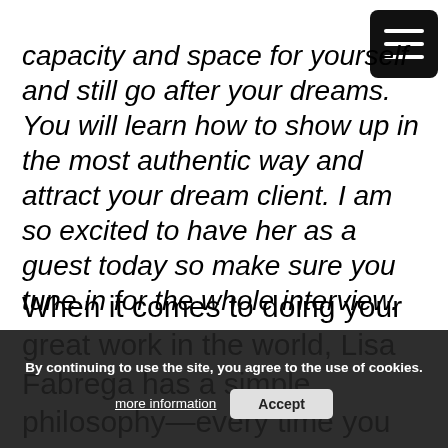capacity and space for yourself and still go after your dreams. You will learn how to show up in the most authentic way and attract your dream client. I am so excited to have her as a guest today so make sure you tune in for the whole interview.
When it comes to doing your great work in the world, Lisa Fabrega has a simple philosophy—every time you hold back, self-sabotage, and keep yourself from stepping into the leadership you know you were born to embody, you are affecting
By continuing to use the site, you agree to the use of cookies.